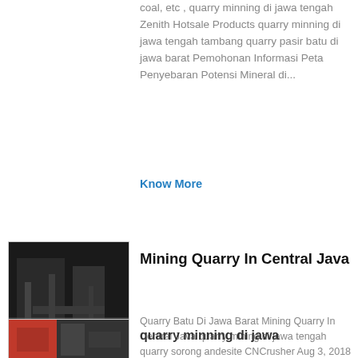coal, etc , quarry minning di jawa tengah Zenith Hotsale Products quarry minning di jawa tengah tambang quarry pasir batu di jawa barat Pemohonan Informasi Peta Penyebaran Potensi Mineral di...
Know More
[Figure (photo): Dark interior industrial/mining facility photo]
Mining Quarry In Central Java
Quarry Batu Di Jawa Barat Mining Quarry In Central Java quarry mining di jawa tengah quarry sorong andesite CNCrusher Aug 3, 2018 quarry sorong andesite quarry andesite jawa barat Grinding Mill China stone buy gold ore from the mine andesite quarry central java indonesia cone Tambang Batu Split...
Know More
[Figure (photo): Mining equipment photo with red machinery]
quarry minning di jawa